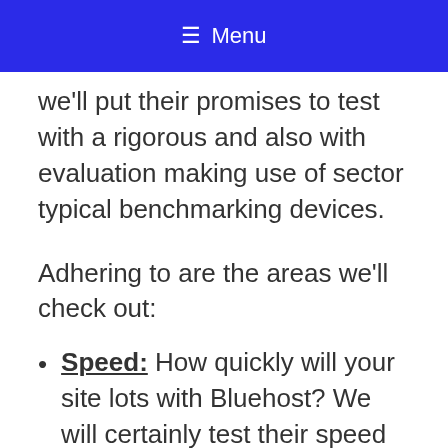☰ Menu
we'll put their promises to test with a rigorous and also with evaluation making use of sector typical benchmarking devices.
Adhering to are the areas we'll check out:
Speed: How quickly will your site lots with Bluehost? We will certainly test their speed and web